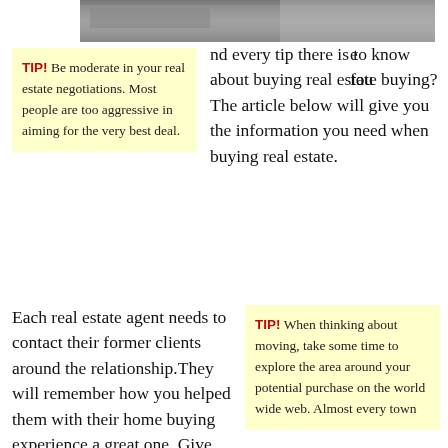[Figure (photo): Partial photo strip at top of page showing outdoor scene]
TIP! Be moderate in your real estate negotiations. Most people are too aggressive in aiming for the very best deal.
e found every tip there is to know about buying real estate buying? The article below will give you the information you need when buying real estate.
Each real estate agent needs to contact their former clients around the relationship.They will remember how you helped them with their home buying experience a great one. Give them a friendly
TIP! When thinking about moving, take some time to explore the area around your potential purchase on the world wide web. Almost every town